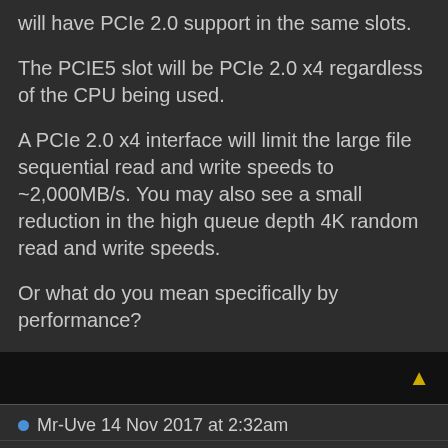will have PCIe 2.0 support in the same slots.
The PCIE5 slot will be PCIe 2.0 x4 regardless of the CPU being used.
A PCIe 2.0 x4 interface will limit the large file sequential read and write speeds to ~2,000MB/s. You may also see a small reduction in the high queue depth 4K random read and write speeds.
Or what do you mean specifically by performance?
Mr-Uve 14 Nov 2017 at 2:32am
Quote  Reply
Hello,
after long tests and trials I've got the Asrock 777